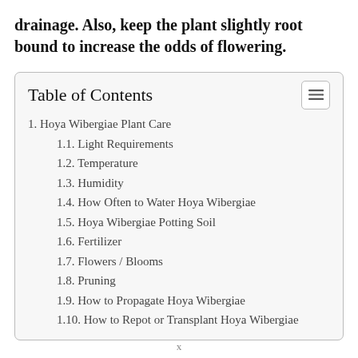drainage. Also, keep the plant slightly root bound to increase the odds of flowering.
Table of Contents
1. Hoya Wibergiae Plant Care
1.1. Light Requirements
1.2. Temperature
1.3. Humidity
1.4. How Often to Water Hoya Wibergiae
1.5. Hoya Wibergiae Potting Soil
1.6. Fertilizer
1.7. Flowers / Blooms
1.8. Pruning
1.9. How to Propagate Hoya Wibergiae
1.10. How to Repot or Transplant Hoya Wibergiae
x